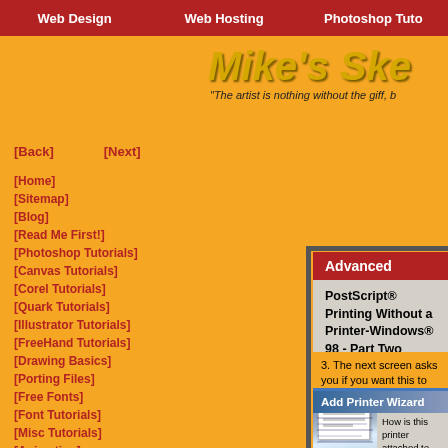Web Design | Web Hosting | Photoshop Tutor
[Figure (screenshot): Mike's Sketchpad logo with tagline 'The artist is nothing without the gift, b...']
[Back] [Next]
[Home]
[Sitemap]
[Blog]
[Read Me First!]
[Photoshop Tutorials]
[Canvas Tutorials]
[Corel Tutorials]
[Quark Tutorials]
[Illustrator Tutorials]
[FreeHand Tutorials]
[Drawing Basics]
[Porting Files]
[Free Fonts]
[Font Tutorials]
[Misc Tutorials]
[Animation]
[About Mike]
[Gallery]
[Related Sites]
Advanced
PostScript® Printing Without a Printer-Windows® 98 - Part Two
3. The next screen asks you if you want this to be a local printer or network printer. Select "Local printer", then click "Next". Don't worry that there
[Figure (screenshot): Add Printer Wizard dialog showing options: Local printer (selected with radio button) and Network printer]